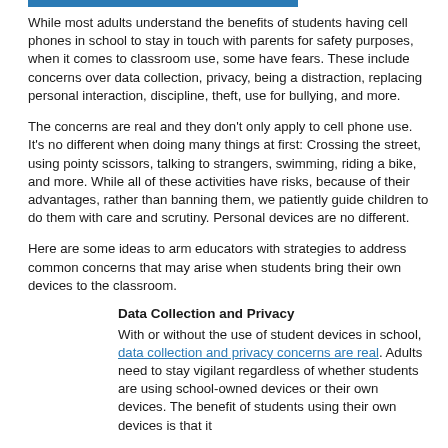While most adults understand the benefits of students having cell phones in school to stay in touch with parents for safety purposes, when it comes to classroom use, some have fears. These include concerns over data collection, privacy, being a distraction, replacing personal interaction, discipline, theft, use for bullying, and more.
The concerns are real and they don't only apply to cell phone use. It's no different when doing many things at first: Crossing the street, using pointy scissors, talking to strangers, swimming, riding a bike, and more. While all of these activities have risks, because of their advantages, rather than banning them, we patiently guide children to do them with care and scrutiny. Personal devices are no different.
Here are some ideas to arm educators with strategies to address common concerns that may arise when students bring their own devices to the classroom.
Data Collection and Privacy
With or without the use of student devices in school, data collection and privacy concerns are real. Adults need to stay vigilant regardless of whether students are using school-owned devices or their own devices. The benefit of students using their own devices is that it...